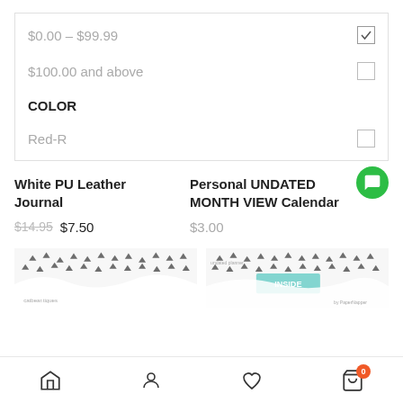$0.00 – $99.99 [checked]
$100.00 and above [unchecked]
COLOR
Red-R [unchecked]
White PU Leather Journal — $14.95 $7.50
Personal UNDATED MONTH VIEW Calendar — $3.00
[Figure (screenshot): Product thumbnail images at bottom of page showing journal and calendar covers with decorative triangle/dot patterns]
Navigation bar: Home, Account, Wishlist, Cart (0)